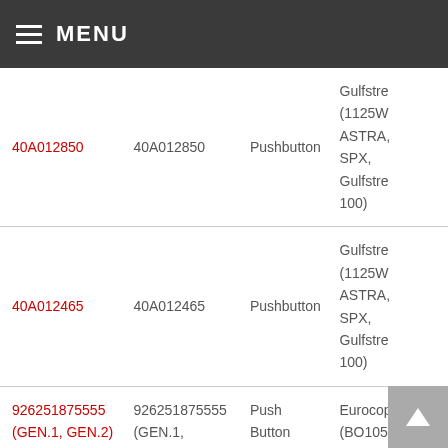MENU
| Part Number | Part Number | Type | Application |
| --- | --- | --- | --- |
| 40A012850 | 40A012850 | Pushbutton | Gulfstream (1125W ASTRA, SPX, Gulfstream 100) |
| 40A012465 | 40A012465 | Pushbutton | Gulfstream (1125W ASTRA, SPX, Gulfstream 100) |
| 926251875555 (GEN.1, GEN.2) | 926251875555 (GEN.1, GEN.2) | Push Button | Eurocop (BO105... |